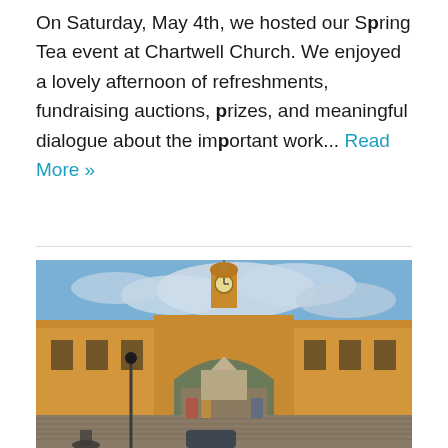On Saturday, May 4th, we hosted our Spring Tea event at Chartwell Church. We enjoyed a lovely afternoon of refreshments, fundraising auctions, prizes, and meaningful dialogue about the important work... Read More »
[Figure (photo): Street scene in Antigua, Guatemala showing the Santa Catalina arch (yellow arch with clock tower) over a cobblestone street, flanked by yellow colonial buildings under a partly cloudy blue sky.]